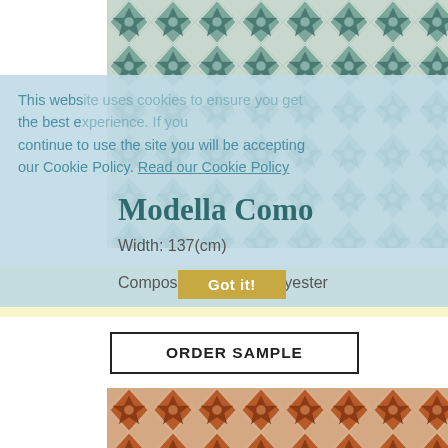[Figure (photo): Teal/green geometric diamond pattern fabric swatch]
This website uses cookies to ensure you get the best experience. If you continue to use the site you will be accepting our Cookie Policy. Read our Cookie Policy
Modella Como
Width: 137(cm)
Composition: 100% Polyester
Got it!
ORDER SAMPLE
[Figure (photo): Rust/terracotta geometric diamond pattern fabric swatch]